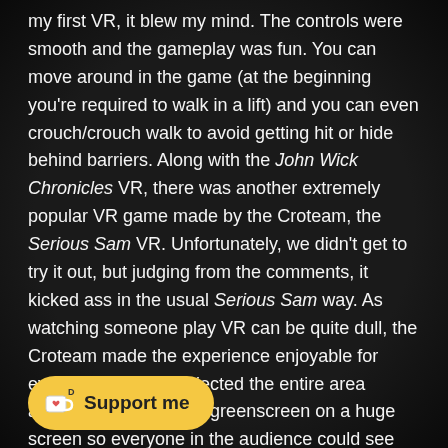my first VR, it blew my mind. The controls were smooth and the gameplay was fun. You can move around in the game (at the beginning you're required to walk in a lift) and you can even crouch/crouch walk to avoid getting hit or hide behind barriers. Along with the John Wick Chronicles VR, there was another extremely popular VR game made by the Croteam, the Serious Sam VR. Unfortunately, we didn't get to try it out, but judging from the comments, it kicked ass in the usual Serious Sam way. As watching someone play VR can be quite dull, the Croteam made the experience enjoyable for everyone as they projected the entire area around the player with greenscreen on a huge screen so everyone in the audience could see what the player was seeing
[Figure (other): Ko-fi 'Support me' button with coffee cup and heart icon in yellow/gold rounded pill shape]